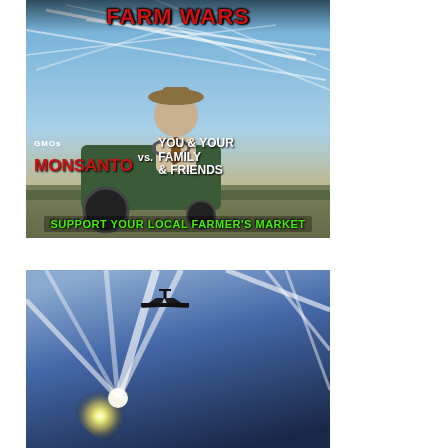[Figure (illustration): Anti-GMO / chemtrail conspiracy meme image. Shows a man in a hat on a tractor against a sky filled with chemtrail lines. Text reads 'FARM WARS', 'GMOs MONSANTO vs. YOU & YOUR FAMILY & FRIENDS', 'SUPPORT YOUR LOCAL FARMER'S MARKET']
[Figure (photo): Photo of airplane(s) flying with contrails against a bright sky with sun visible, multiple white contrail streaks across the frame]